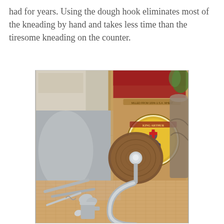had for years. Using the dough hook eliminates most of the kneading by hand and takes less time than the tiresome kneading on the counter.
[Figure (photo): Photo of baking tools including a dough hook, measuring spoons, and a bag of King Arthur Flour on a burlap surface, with a kitchen mixer visible in the background.]